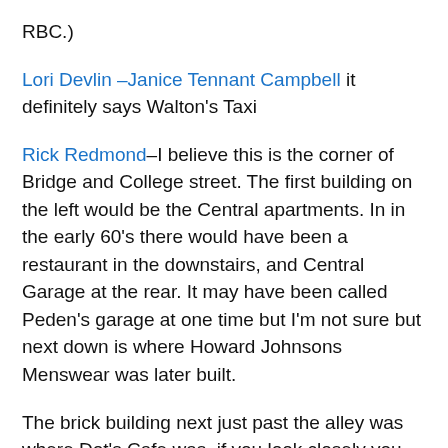RBC.)
Lori Devlin –Janice Tennant Campbell it definitely says Walton's Taxi
Rick Redmond–I believe this is the corner of Bridge and College street. The first building on the left would be the Central apartments. In in the early 60's there would have been a restaurant in the downstairs, and Central Garage at the rear. It may have been called Peden's garage at one time but I'm not sure but next down is where Howard Johnsons Menswear was later built.
The brick building next just past the alley was where Dot's Cafe was, if you look closely you can still see the framed entrance. Next built later would be the Roxy Theater, torn down in the mid 50's This was the 2nd movie theater in town the first one being where the Canadian office was